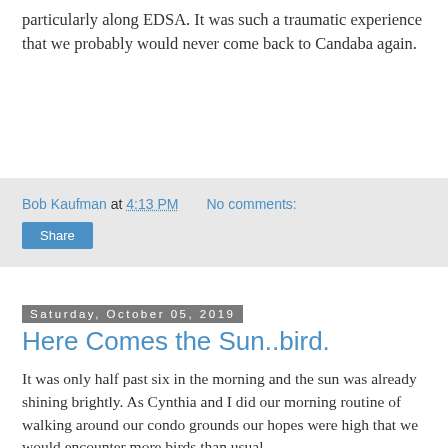particularly along EDSA. It was such a traumatic experience that we probably would never come back to Candaba again.
Bob Kaufman at 4:13 PM   No comments:
Share
Saturday, October 05, 2019
Here Comes the Sun..bird.
It was only half past six in the morning and the sun was already shining brightly. As Cynthia and I did our morning routine of walking around our condo grounds our hopes were high that we would encounter more birds than usual.
Unfortunately, our "bad luck" seems to have not ended yet. We did some birds - four species to be exact, but the only